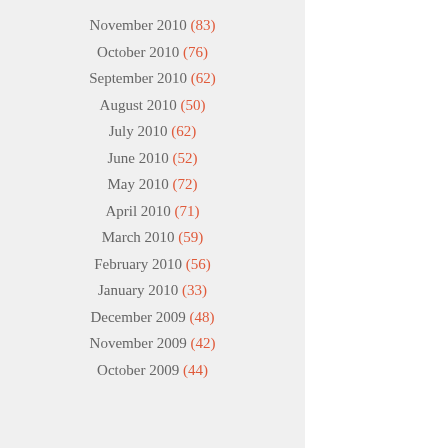November 2010 (83)
October 2010 (76)
September 2010 (62)
August 2010 (50)
July 2010 (62)
June 2010 (52)
May 2010 (72)
April 2010 (71)
March 2010 (59)
February 2010 (56)
January 2010 (33)
December 2009 (48)
November 2009 (42)
October 2009 (44)